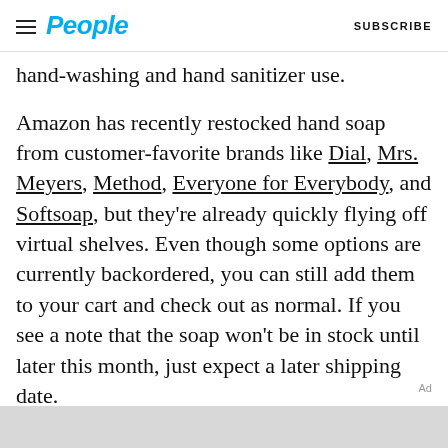People | SUBSCRIBE
hand-washing and hand sanitizer use.
Amazon has recently restocked hand soap from customer-favorite brands like Dial, Mrs. Meyers, Method, Everyone for Everybody, and Softsoap, but they're already quickly flying off virtual shelves. Even though some options are currently backordered, you can still add them to your cart and check out as normal. If you see a note that the soap won't be in stock until later this month, just expect a later shipping date.
Ad